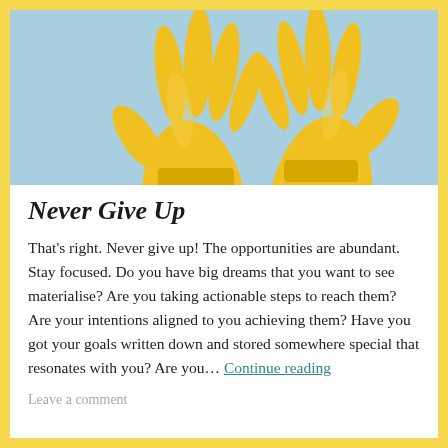[Figure (photo): Two yellow rubber gloves raised up against a light blue background, fingers spread open]
Never Give Up
That's right. Never give up! The opportunities are abundant. Stay focused. Do you have big dreams that you want to see materialise? Are you taking actionable steps to reach them? Are your intentions aligned to you achieving them? Have you got your goals written down and stored somewhere special that resonates with you? Are you… Continue reading
Leave a comment